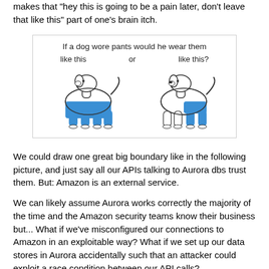makes that "hey this is going to be a pain later, don't leave that like this" part of one's brain itch.
[Figure (illustration): Two cartoon dogs wearing pants in different ways. Left dog wears pants covering all four legs (full-body). Right dog wears pants covering only the back two legs. Caption reads: 'If a dog wore pants would he wear them like this or like this?']
We could draw one great big boundary like in the following picture, and just say all our APIs talking to Aurora dbs trust them. But: Amazon is an external service.
We can likely assume Aurora works correctly the majority of the time and the Amazon security teams know their business but... What if we've misconfigured our connections to Amazon in an exploitable way? What if we set up our data stores in Aurora accidentally such that an attacker could exploit a race condition between our API calls?